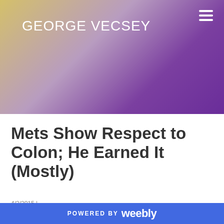GEORGE VECSEY
[Figure (illustration): Gradient banner background blending yellow-gold on the left to purple on the right]
Mets Show Respect to Colon; He Earned It (Mostly)
4/2/2015 |
POWERED BY weebly